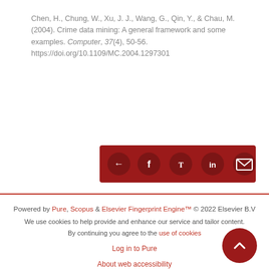Chen, H., Chung, W., Xu, J. J., Wang, G., Qin, Y., & Chau, M. (2004). Crime data mining: A general framework and some examples. Computer, 37(4), 50-56. https://doi.org/10.1109/MC.2004.1297301
[Figure (other): Social share buttons bar: share icon, Facebook, Twitter, LinkedIn, Email — dark red background]
Powered by Pure, Scopus & Elsevier Fingerprint Engine™ © 2022 Elsevier B.V

We use cookies to help provide and enhance our service and tailor content. By continuing you agree to the use of cookies

Log in to Pure

About web accessibility

Contact us